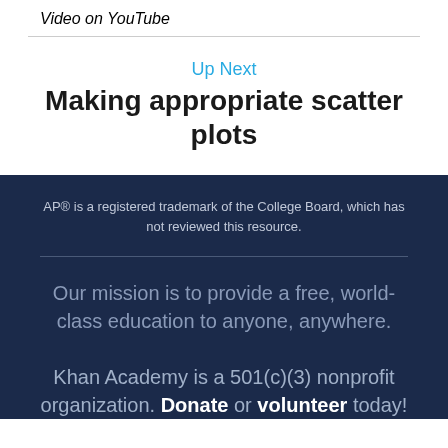Video on YouTube
Up Next
Making appropriate scatter plots
AP® is a registered trademark of the College Board, which has not reviewed this resource.
Our mission is to provide a free, world-class education to anyone, anywhere.
Khan Academy is a 501(c)(3) nonprofit organization. Donate or volunteer today!